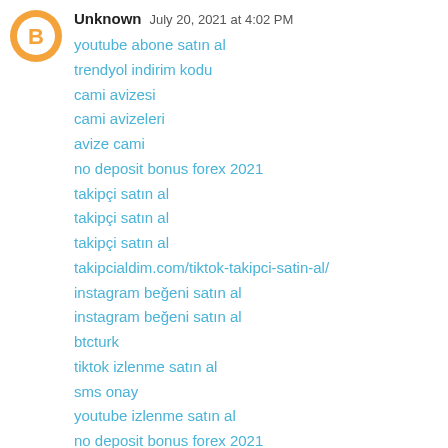[Figure (other): Blogger avatar icon — orange circle with white inner circle containing orange letter B]
Unknown  July 20, 2021 at 4:02 PM
youtube abone satın al
trendyol indirim kodu
cami avizesi
cami avizeleri
avize cami
no deposit bonus forex 2021
takipçi satın al
takipçi satın al
takipçi satın al
takipcialdim.com/tiktok-takipci-satin-al/
instagram beğeni satın al
instagram beğeni satın al
btcturk
tiktok izlenme satın al
sms onay
youtube izlenme satın al
no deposit bonus forex 2021
tiktok jeton hilesi
tiktok beğeni satın al
binance
takipçi satın al